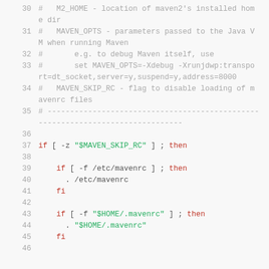Code listing lines 30-46: Maven shell script comments and conditional logic
30  #   M2_HOME - location of maven2's installed home dir
31  #   MAVEN_OPTS - parameters passed to the Java VM when running Maven
32  #       e.g. to debug Maven itself, use
33  #       set MAVEN_OPTS=-Xdebug -Xrunjdwp:transport=dt_socket,server=y,suspend=y,address=8000
34  #   MAVEN_SKIP_RC - flag to disable loading of mavenrc files
35  # ------------------------------------------------------------------
36
37  if [ -z "$MAVEN_SKIP_RC" ] ; then
38
39    if [ -f /etc/mavenrc ] ; then
40      . /etc/mavenrc
41    fi
42
43    if [ -f "$HOME/.mavenrc" ] ; then
44      . "$HOME/.mavenrc"
45    fi
46